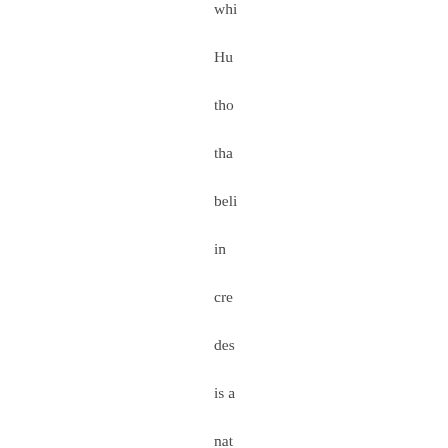whi Hu tho tha beli in cre des is a nat beli The ans is not at all obv sinc Hu voi sev see con